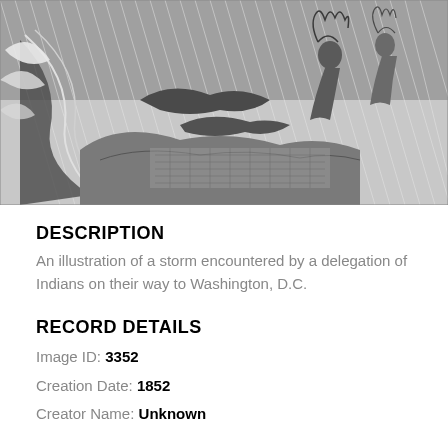[Figure (illustration): A black and white engraving/illustration of a storm scene with heavy rain, waves, rocky terrain, and figures including what appears to be a Native American person in traditional dress on the right side.]
DESCRIPTION
An illustration of a storm encountered by a delegation of Indians on their way to Washington, D.C.
RECORD DETAILS
Image ID: 3352
Creation Date: 1852
Creator Name: Unknown